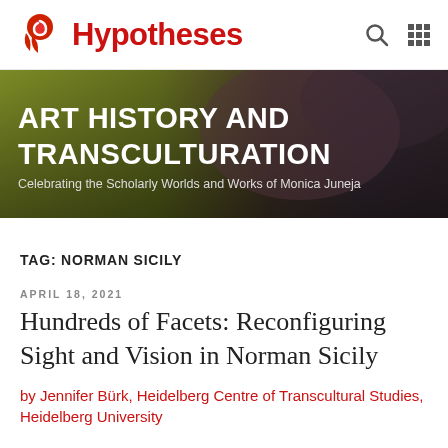[Figure (logo): Hypotheses website header with red tulip/spiral logo and 'Hypotheses' text in red, plus search and grid icons on the right]
[Figure (illustration): Dark gradient banner with olive-green and brown tones containing the blog title 'ART HISTORY AND TRANSCULTURATION' in large white bold uppercase text and subtitle 'Celebrating the Scholarly Worlds and Works of Monica Juneja']
TAG: NORMAN SICILY
APRIL 18, 2021
Hundreds of Facets: Reconfiguring Sight and Vision in Norman Sicily
by Jennifer Bürk, Heidelberg Centre of Transcultural Studies, Heidelberg University